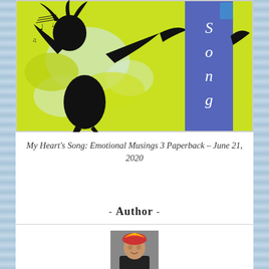[Figure (illustration): Book cover for 'My Heart's Song: Emotional Musings 3'. Left side shows a black silhouette of a dancing figure with musical notes against a yellow-green splattered background. Right side shows a blue/purple vertical banner with the text 'Song' in white italic letters.]
My Heart's Song: Emotional Musings 3 Paperback – June 21, 2020
- Author -
[Figure (photo): Partial photo of a person (the author) wearing a colorful head covering, visible from approximately the shoulders up, cropped at the bottom of the page.]